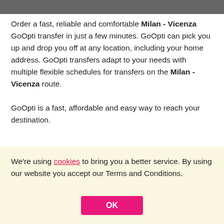Order a fast, reliable and comfortable Milan - Vicenza GoOpti transfer in just a few minutes. GoOpti can pick you up and drop you off at any location, including your home address. GoOpti transfers adapt to your needs with multiple flexible schedules for transfers on the Milan - Vicenza route.
GoOpti is a fast, affordable and easy way to reach your destination.
GoOpti in 90 secs
[Figure (photo): Partial photo strip showing a person with glasses and dark background]
We're using cookies to bring you a better service. By using our website you accept our Terms and Conditions.